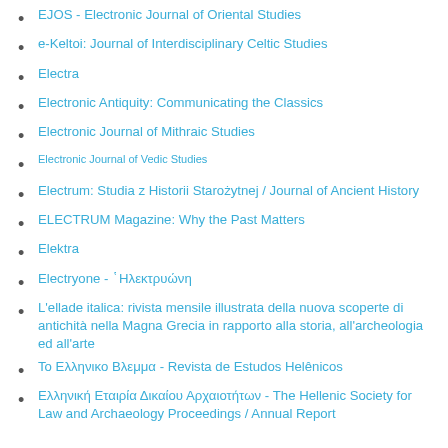EJOS - Electronic Journal of Oriental Studies
e-Keltoi: Journal of Interdisciplinary Celtic Studies
Electra
Electronic Antiquity: Communicating the Classics
Electronic Journal of Mithraic Studies
Electronic Journal of Vedic Studies
Electrum: Studia z Historii Starożytnej / Journal of Ancient History
ELECTRUM Magazine: Why the Past Matters
Elektra
Electryone - ῾Ηλεκτρυώνη
L'ellade italica: rivista mensile illustrata della nuova scoperte di antichità nella Magna Grecia in rapporto alla storia, all'archeologia ed all'arte
Το Ελληνικο Βλεμμα - Revista de Estudos Helênicos
Ελληνική Εταιρία Δικαίου Αρχαιοτήτων - The Hellenic Society for Law and Archaeology Proceedings / Annual Report